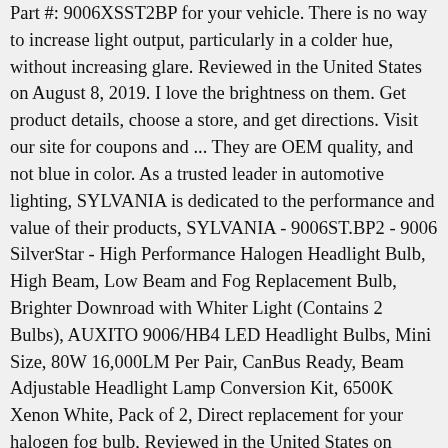Part #: 9006XSS T2BP for your vehicle. There is no way to increase light output, particularly in a colder hue, without increasing glare. Reviewed in the United States on August 8, 2019. I love the brightness on them. Get product details, choose a store, and get directions. Visit our site for coupons and ... They are OEM quality, and not blue in color. As a trusted leader in automotive lighting, SYLVANIA is dedicated to the performance and value of their products, SYLVANIA - 9006ST.BP2 - 9006 SilverStar - High Performance Halogen Headlight Bulb, High Beam, Low Beam and Fog Replacement Bulb, Brighter Downroad with Whiter Light (Contains 2 Bulbs), AUXITO 9006/HB4 LED Headlight Bulbs, Mini Size, 80W 16,000LM Per Pair, CanBus Ready, Beam Adjustable Headlight Lamp Conversion Kit, 6500K Xenon White, Pack of 2, Direct replacement for your halogen fog bulb, Reviewed in the United States on January 22, 2019. mimic the Five. O! Visit our site for coupons and promotions.